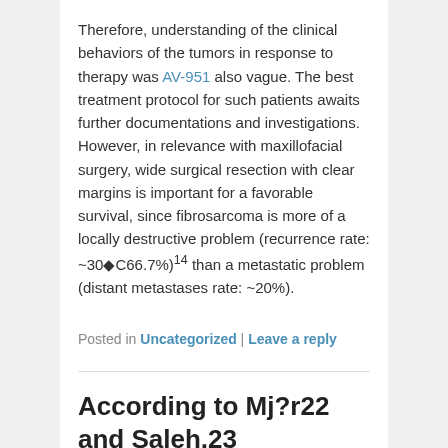Therefore, understanding of the clinical behaviors of the tumors in response to therapy was AV-951 also vague. The best treatment protocol for such patients awaits further documentations and investigations. However, in relevance with maxillofacial surgery, wide surgical resection with clear margins is important for a favorable survival, since fibrosarcoma is more of a locally destructive problem (recurrence rate: ~30◆C66.7%)14 than a metastatic problem (distant metastases rate: ~20%).
Posted in Uncategorized | Leave a reply
According to Mj?r22 and Saleh,23 development of secondary caries
Posted on March 22, 2016